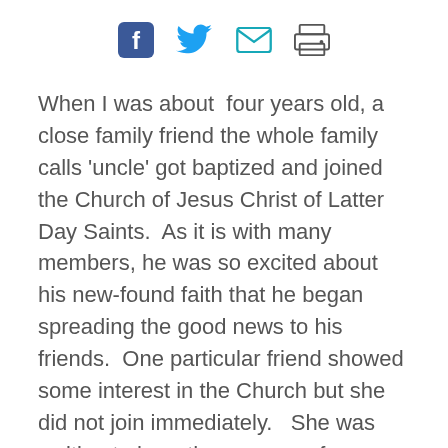[Figure (other): Social media sharing icons: Facebook, Twitter, Email, Print]
When I was about  four years old, a close family friend the whole family calls ‘uncle’ got baptized and joined the Church of Jesus Christ of Latter Day Saints.  As it is with many members, he was so excited about his new-found faith that he began spreading the good news to his friends.  One particular friend showed some interest in the Church but she did not join immediately.   She was waiting to hear the message from a particular messenger the Lord would